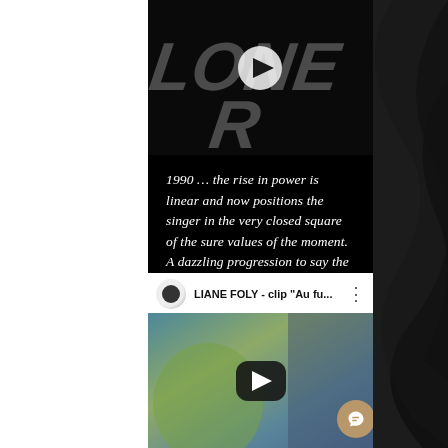[Figure (screenshot): Mobile app screenshot showing a dark-themed page. Top portion: a dark video frame with large italic 'LONER' text and a white play button overlay. Middle: italic white text on black background. Bottom: a YouTube video embed card showing 'LIANE FOLY - clip "Au fu...' with play button. A golden chat bubble button appears at bottom right.]
1990 … the rise in power is linear and now positions the singer in the very closed square of the sure values of the moment. A dazzling progression to say the least !
LIANE FOLY - clip "Au fu...